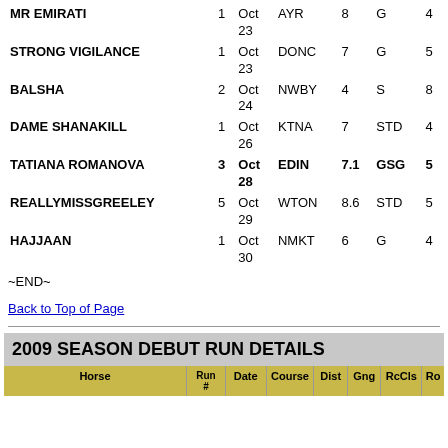| Horse | Run # | Date | Course | Dist | Gng | RcCls | Ro |
| --- | --- | --- | --- | --- | --- | --- | --- |
| MR EMIRATI | 1 | Oct 23 | AYR | 8 | G | 4 |  |
| STRONG VIGILANCE | 1 | Oct 23 | DONC | 7 | G | 5 |  |
| BALSHA | 2 | Oct 24 | NWBY | 4 | S | 8 |  |
| DAME SHANAKILL | 1 | Oct 26 | KTNA | 7 | STD | 4 |  |
| TATIANA ROMANOVA | 3 | Oct 28 | EDIN | 7.1 | GSG | 5 |  |
| REALLYMISSGREELEY | 5 | Oct 29 | WTON | 8.6 | STD | 5 |  |
| HAJJAAN | 1 | Oct 30 | NMKT | 6 | G | 4 |  |
~END~
Back to Top of Page
2009 SEASON DEBUT RUN DETAILS
| Horse | Run # | Date | Course | Dist | Gng | RcCls | Ro |
| --- | --- | --- | --- | --- | --- | --- | --- |